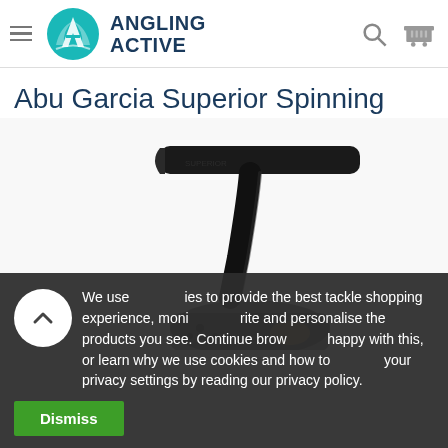Angling Active
Abu Garcia Superior Spinning Reel
[Figure (photo): Close-up photo of an Abu Garcia Superior Spinning Reel handle and body against a white background, showing dark black metal components and golden accents]
We use cookies to provide the best tackle shopping experience, monitor our site and personalise the products you see. Continue browsing if happy with this, or learn why we use cookies and how to change your privacy settings by reading our privacy policy.
Dismiss